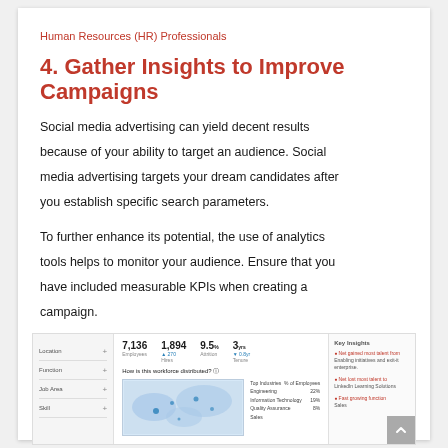Human Resources (HR) Professionals
4. Gather Insights to Improve Campaigns
Social media advertising can yield decent results because of your ability to target an audience. Social media advertising targets your dream candidates after you establish specific search parameters.
To further enhance its potential, the use of analytics tools helps to monitor your audience. Ensure that you have included measurable KPIs when creating a campaign.
[Figure (screenshot): Screenshot of a LinkedIn talent insights dashboard showing workforce analytics including 7,136 employees, 1,894 hires, 9.5% attrition, 3 years tenure, a map showing workforce distribution, and a Key Insights panel on the right.]